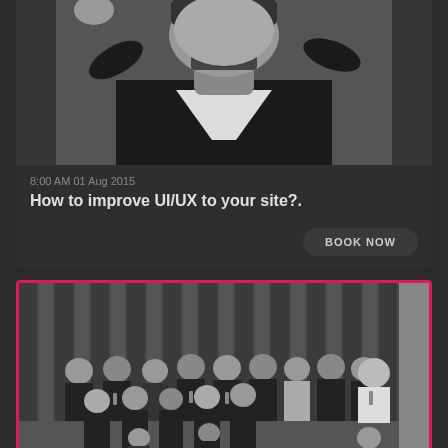[Figure (photo): Black and white close-up photo of a man in a black t-shirt with white design, raising one hand, cropped at chest level]
8:00 AM 01 Aug 2015
How to improve UI/UX to your site?.
BOOK NOW
[Figure (photo): Black and white group photo of approximately 20 people standing together in front of curtains, many wearing matching black t-shirts with logos and lanyards]